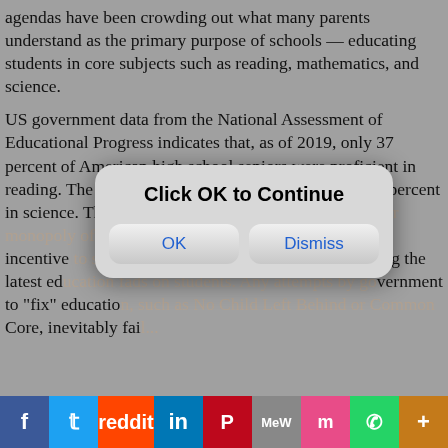agendas have been crowding out what many parents understand as the primary purpose of schools — educating students in core subjects such as reading, mathematics, and science.
US government data from the National Assessment of Educational Progress indicates that, as of 2019, only 37 percent of American high school seniors were proficient in reading. The results drop to 24 percent in math and 22 percent in science. The root of the problem is government's near monopoly of education that means there is little to no incentive to stop state and local districts from imposing the latest education fads on students. Any attempts by government to "fix" education, such as No Child Left Behind or Common Core, inevitably fai...
[Figure (screenshot): Modal dialog box with title 'Click OK to Continue' and two buttons: 'OK' and 'Dismiss']
The replacement of education with indoctrination is one reasons many parents are pulling their children out of public schools to homeschool. Of course, one main reason for the growth in homeschooling is the covid lockdowns and mask and vaccine mandates. Restrictions at schools have been especially absurd since children have tended to be in little danger from covid.
[Figure (infographic): Social media sharing bar with icons for Facebook, Twitter, Reddit, LinkedIn, Pinterest, MeWe, Mix, WhatsApp, and More (+)]